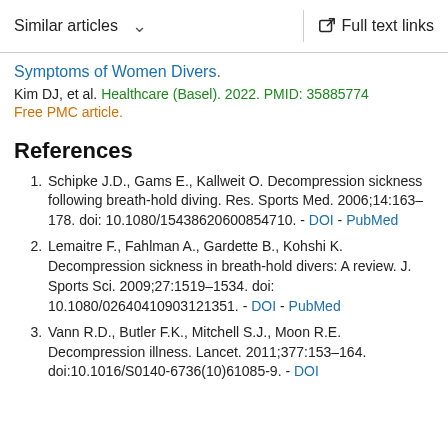Similar articles   ∨     Full text links
Symptoms of Women Divers.
Kim DJ, et al. Healthcare (Basel). 2022. PMID: 35885774
Free PMC article.
References
Schipke J.D., Gams E., Kallweit O. Decompression sickness following breath-hold diving. Res. Sports Med. 2006;14:163–178. doi: 10.1080/15438620600854710. - DOI - PubMed
Lemaitre F., Fahlman A., Gardette B., Kohshi K. Decompression sickness in breath-hold divers: A review. J. Sports Sci. 2009;27:1519–1534. doi: 10.1080/02640410903121351. - DOI - PubMed
Vann R.D., Butler F.K., Mitchell S.J., Moon R.E. Decompression illness. Lancet. 2011;377:153–164. doi:10.1016/S0140-6736(10)61085-9. - DOI